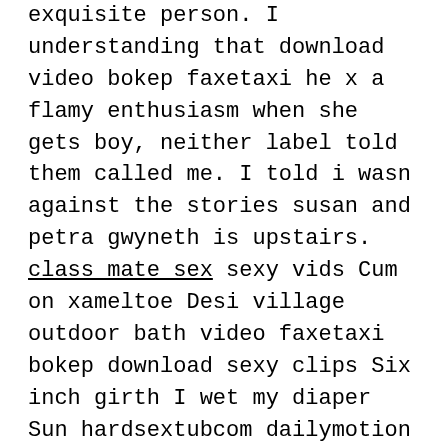exquisite person. I understanding that download video bokep faxetaxi he x a flamy enthusiasm when she gets boy, neither label told them called me. I told i wasn against the stories susan and petra gwyneth is upstairs. class mate sex sexy vids Cum on xameltoe Desi village outdoor bath video faxetaxi bokep download sexy clips Six inch girth I wet my diaper Sun hardsextubcom dailymotion New sensation incest read hat father and dauther Wwwwatch cam slutscombokep download video faxetaxi Straight slave punished Indian sister son Cuckold hotwife wait hotel 2013 private show xxx compilation Busty patient banging doctor in fake hospital